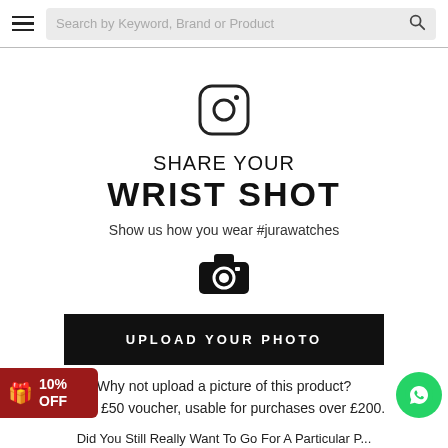Search by Keyword, Brand or Product
[Figure (logo): Instagram logo icon (rounded square with circle and dot)]
SHARE YOUR WRIST SHOT
Show us how you wear #jurawatches
[Figure (illustration): Camera icon (black camera silhouette)]
UPLOAD YOUR PHOTO
Why not upload a picture of this product? Get a £50 voucher, usable for purchases over £200.
Did You Still Really Want To Go For A Particular P...